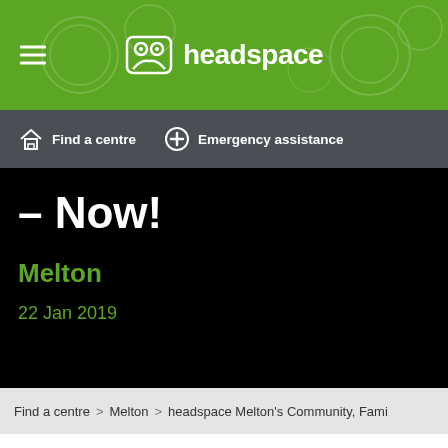headspace
Find a centre  Emergency assistance
- Now!
Melton
22 Jan 2019
Find a centre > Melton > headspace Melton's Community, Fami
What is the headspace Melton Community, Family